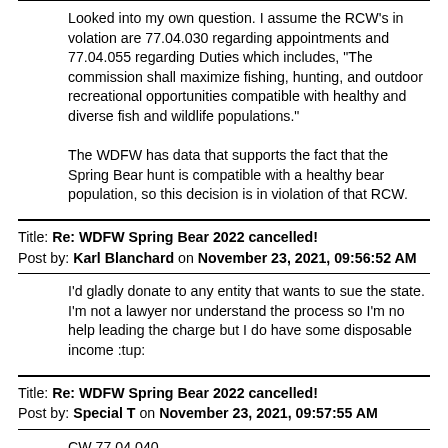Looked into my own question. I assume the RCW's in volation are 77.04.030 regarding appointments and 77.04.055 regarding Duties which includes, "The commission shall maximize fishing, hunting, and outdoor recreational opportunities compatible with healthy and diverse fish and wildlife populations."

The WDFW has data that supports the fact that the Spring Bear hunt is compatible with a healthy bear population, so this decision is in violation of that RCW.
Title: Re: WDFW Spring Bear 2022 cancelled!
Post by: Karl Blanchard on November 23, 2021, 09:56:52 AM
I'd gladly donate to any entity that wants to sue the state. I'm not a lawyer nor understand the process so I'm no help leading the charge but I do have some disposable income :tup:
Title: Re: WDFW Spring Bear 2022 cancelled!
Post by: Special T on November 23, 2021, 09:57:55 AM
CW 77.04.040
Commission—Qualifications of members.
Persons eligible for appointment as members of the commission shall have general knowledge of the habits and distribution of fish and wildlife and shall not hold another state,